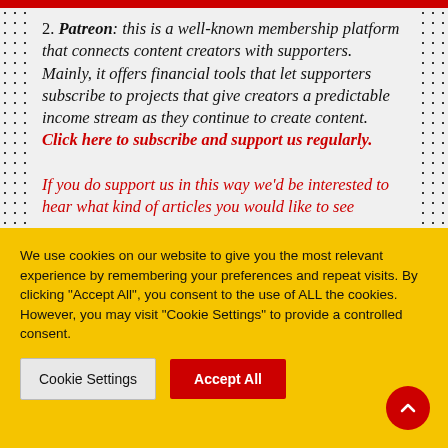2. Patreon: this is a well-known membership platform that connects content creators with supporters. Mainly, it offers financial tools that let supporters subscribe to projects that give creators a predictable income stream as they continue to create content. Click here to subscribe and support us regularly.
If you do support us in this way we'd be interested to hear what kind of articles you would like to see
We use cookies on our website to give you the most relevant experience by remembering your preferences and repeat visits. By clicking "Accept All", you consent to the use of ALL the cookies. However, you may visit "Cookie Settings" to provide a controlled consent.